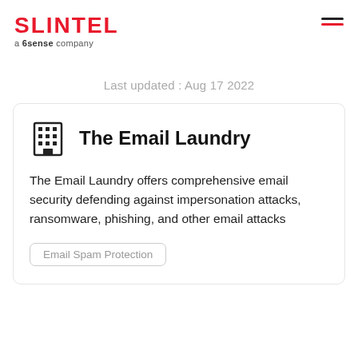SLINTEL a 6sense company
Last updated : Aug 17 2022
The Email Laundry
The Email Laundry offers comprehensive email security defending against impersonation attacks, ransomware, phishing, and other email attacks
Email Spam Protection